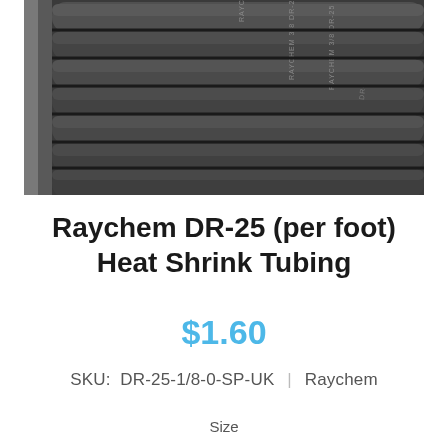[Figure (photo): Coiled black Raychem DR-25 heat shrink tubing with white text printed on the tubes reading 'RAYCHEM 3/8 DR-25'.]
Raychem DR-25 (per foot) Heat Shrink Tubing
$1.60
SKU:  DR-25-1/8-0-SP-UK  |  Raychem
Size